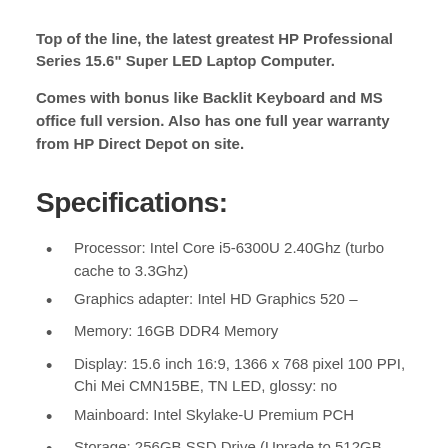Top of the line, the latest greatest HP Professional Series 15.6" Super LED Laptop Computer.
Comes with bonus like Backlit Keyboard and MS office full version. Also has one full year warranty from HP Direct Depot on site.
Specifications:
Processor: Intel Core i5-6300U 2.40Ghz (turbo cache to 3.3Ghz)
Graphics adapter: Intel HD Graphics 520 -
Memory: 16GB DDR4 Memory
Display: 15.6 inch 16:9, 1366 x 768 pixel 100 PPI, Chi Mei CMN15BE, TN LED, glossy: no
Mainboard: Intel Skylake-U Premium PCH
Storage: 256GB SSD Drive (Uprade to 512GB